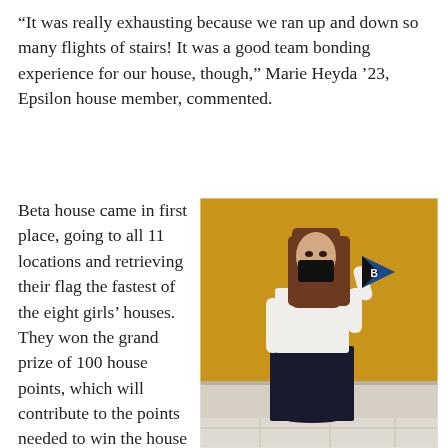“It was really exhausting because we ran up and down so many flights of stairs! It was a good team bonding experience for our house, though,” Marie Heyda ’23, Epsilon house member, commented.
Beta house came in first place, going to all 11 locations and retrieving their flag the fastest of the eight girls’ houses. They won the grand prize of 100 house points, which will contribute to the points needed to win the house competition at the
[Figure (photo): A young woman wearing a black face mask, white long-sleeve top, and dark navy skirt, standing against a yellow/mustard-colored wall. She is holding up a blue and black triangular pennant with the letter B on it. The floor has light-colored tile visible at the bottom.]